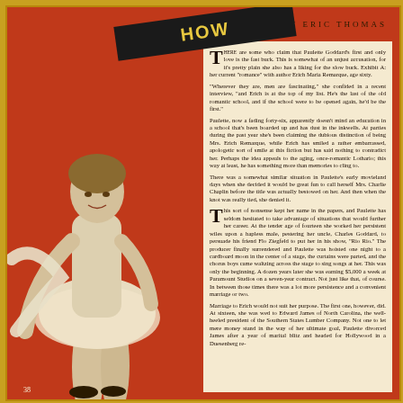HOW
BY ERIC THOMAS
[Figure (photo): Black and white photograph of a woman (Paulette Goddard) seated, wearing a tutu/feathered skirt, on a red background]
THERE are some who claim that Paulette Goddard's first and only love is the fast buck. This is somewhat of an unjust accusation, for it's pretty plain she also has a liking for the slow buck. Exhibit A: her current "romance" with author Erich Maria Remarque, age sixty.
"Wherever they are, men are fascinating," she confided in a recent interview, "and Erich is at the top of my list. He's the last of the old romantic school, and if the school were to be opened again, he'd be the first."
Paulette, now a fading forty-six, apparently doesn't mind an education in a school that's been boarded up and has dust in the inkwells. At parties during the past year she's been claiming the dubious distinction of being Mrs. Erich Remarque, while Erich has smiled a rather embarrassed, apologetic sort of smile at this fiction but has said nothing to contradict her. Perhaps the idea appeals to the aging, once-romantic Lothario; this way at least, he has something more than memories to cling to.
There was a somewhat similar situation in Paulette's early movieland days when she decided it would be great fun to call herself Mrs. Charlie Chaplin before the title was actually bestowed on her. And then when the knot was really tied, she denied it.
This sort of nonsense kept her name in the papers, and Paulette has seldom hesitated to take advantage of situations that would further her career. At the tender age of fourteen she worked her persistent wiles upon a hapless male, pestering her uncle, Charles Goddard, to persuade his friend Flo Ziegfeld to put her in his show, "Rio Rio." The producer finally surrendered and Paulette was hoisted one night to a cardboard moon in the center of a stage, the curtains were parted, and the chorus boys came waltzing across the stage to sing songs at her. This was only the beginning. A dozen years later she was earning $5,000 a week at Paramount Studios on a seven-year contract. Not just like that, of course. In between those times there was a lot more persistence and a convenient marriage or two.
Marriage to Erich would not suit her purpose. The first one, however, did. At sixteen, she was wed to Edward James of North Carolina, the well-heeled president of the Southern States Lumber Company. Not one to let mere money stand in the way of her ultimate goal, Paulette divorced James after a year of marital blitz and headed for Hollywood in a Duesenberg re-
38